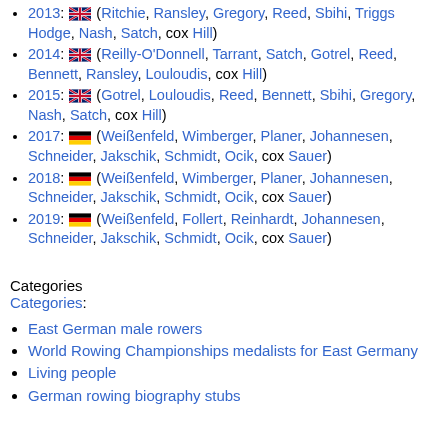2013: GB flag (Ritchie, Ransley, Gregory, Reed, Sbihi, Triggs Hodge, Nash, Satch, cox Hill)
2014: GB flag (Reilly-O'Donnell, Tarrant, Satch, Gotrel, Reed, Bennett, Ransley, Louloudis, cox Hill)
2015: GB flag (Gotrel, Louloudis, Reed, Bennett, Sbihi, Gregory, Nash, Satch, cox Hill)
2017: Germany flag (Weißenfeld, Wimberger, Planer, Johannesen, Schneider, Jakschik, Schmidt, Ocik, cox Sauer)
2018: Germany flag (Weißenfeld, Wimberger, Planer, Johannesen, Schneider, Jakschik, Schmidt, Ocik, cox Sauer)
2019: Germany flag (Weißenfeld, Follert, Reinhardt, Johannesen, Schneider, Jakschik, Schmidt, Ocik, cox Sauer)
Categories
Categories:
East German male rowers
World Rowing Championships medalists for East Germany
Living people
German rowing biography stubs